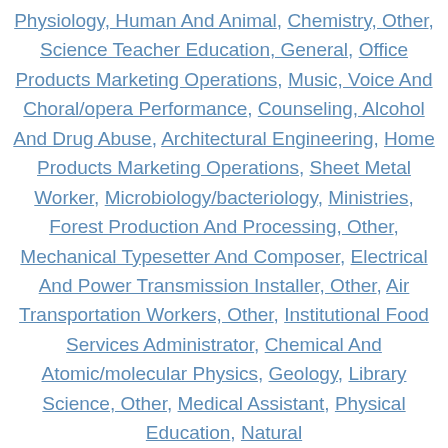Physiology, Human And Animal, Chemistry, Other, Science Teacher Education, General, Office Products Marketing Operations, Music, Voice And Choral/opera Performance, Counseling, Alcohol And Drug Abuse, Architectural Engineering, Home Products Marketing Operations, Sheet Metal Worker, Microbiology/bacteriology, Ministries, Forest Production And Processing, Other, Mechanical Typesetter And Composer, Electrical And Power Transmission Installer, Other, Air Transportation Workers, Other, Institutional Food Services Administrator, Chemical And Atomic/molecular Physics, Geology, Library Science, Other, Medical Assistant, Physical Education, Natural